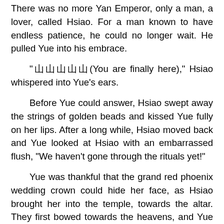There was no more Yan Emperor, only a man, a lover, called Hsiao. For a man known to have endless patience, he could no longer wait. He pulled Yue into his embrace.
“山山山山山(You are finally here),” Hsiao whispered into Yue’s ears.
Before Yue could answer, Hsiao swept away the strings of golden beads and kissed Yue fully on her lips. After a long while, Hsiao moved back and Yue looked at Hsiao with an embarrassed flush, “We haven’t gone through the rituals yet!”
Yue was thankful that the grand red phoenix wedding crown could hide her face, as Hsiao brought her into the temple, towards the altar. They first bowed towards the heavens, and Yue winked at the Moon God. Then, they bowed towards Hsiao’s parents, for the grand Yan Emperor and Yan Empress were sitting inside the temple halls waiting for this mystical bride.
After that, they bowed towards each other, now husband